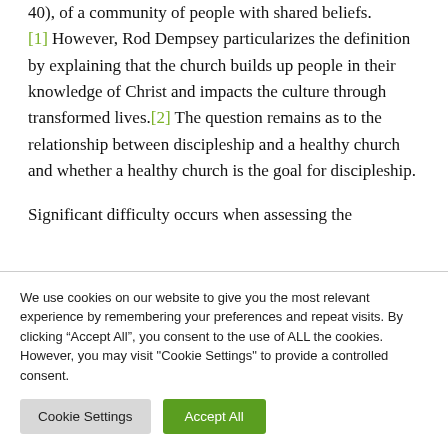40), of a community of people with shared beliefs. [1] However, Rod Dempsey particularizes the definition by explaining that the church builds up people in their knowledge of Christ and impacts the culture through transformed lives.[2] The question remains as to the relationship between discipleship and a healthy church and whether a healthy church is the goal for discipleship.
Significant difficulty occurs when assessing the...
We use cookies on our website to give you the most relevant experience by remembering your preferences and repeat visits. By clicking “Accept All”, you consent to the use of ALL the cookies. However, you may visit "Cookie Settings" to provide a controlled consent.